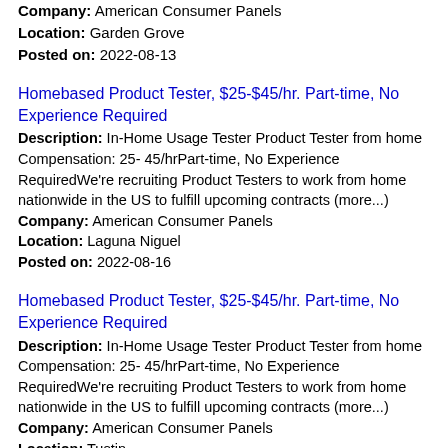Company: American Consumer Panels
Location: Garden Grove
Posted on: 2022-08-13
Homebased Product Tester, $25-$45/hr. Part-time, No Experience Required
Description: In-Home Usage Tester Product Tester from home Compensation: 25- 45/hrPart-time, No Experience RequiredWe're recruiting Product Testers to work from home nationwide in the US to fulfill upcoming contracts (more...)
Company: American Consumer Panels
Location: Laguna Niguel
Posted on: 2022-08-16
Homebased Product Tester, $25-$45/hr. Part-time, No Experience Required
Description: In-Home Usage Tester Product Tester from home Compensation: 25- 45/hrPart-time, No Experience RequiredWe're recruiting Product Testers to work from home nationwide in the US to fulfill upcoming contracts (more...)
Company: American Consumer Panels
Location: Tustin
Posted on: 2022-08-16
Get Paid to Evaluate Products at Home $25-$45/hr. PT/FT. No Exp. Required
Description: In-Home Usage Tester Product Tester from home Compensation: 25- 45/hr Part-time, No Experience